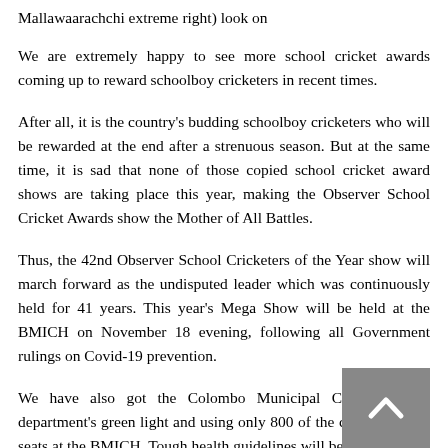Mallawaarachchi extreme right) look on
We are extremely happy to see more school cricket awards coming up to reward schoolboy cricketers in recent times.
After all, it is the country's budding schoolboy cricketers who will be rewarded at the end after a strenuous season. But at the same time, it is sad that none of those copied school cricket award shows are taking place this year, making the Observer School Cricket Awards show the Mother of All Battles.
Thus, the 42nd Observer School Cricketers of the Year show will march forward as the undisputed leader which was continuously held for 41 years. This year's Mega Show will be held at the BMICH on November 18 evening, following all Government rulings on Covid-19 prevention.
We have also got the Colombo Municipal Council health department's green light and using only 800 of the capacity 1,600 seats at the BMICH. Tough health guidelines will be